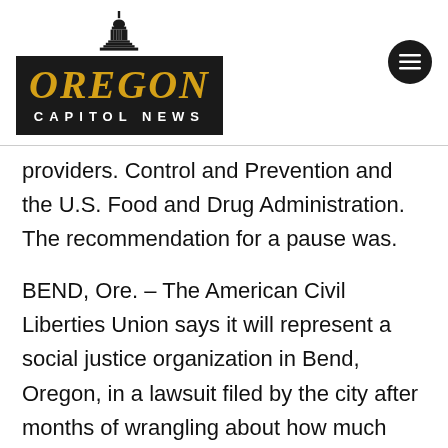[Figure (logo): Oregon Capitol News logo with a capitol building tower above a black rectangle containing 'OREGON' in gold italic serif font and 'CAPITOL NEWS' in white spaced sans-serif font below]
providers. Control and Prevention and the U.S. Food and Drug Administration. The recommendation for a pause was.
BEND, Ore. – The American Civil Liberties Union says it will represent a social justice organization in Bend, Oregon, in a lawsuit filed by the city after months of wrangling about how much the.